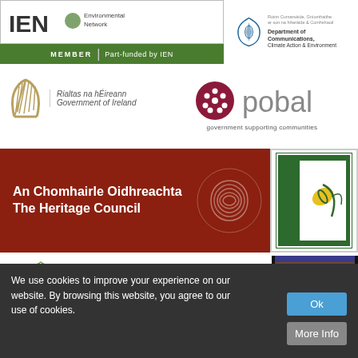[Figure (logo): Irish Environmental Network (IEN) member logo with green bar 'MEMBER | Part-funded by IEN']
[Figure (logo): Department of Communications, Climate Action & Environment logo with harp emblem]
[Figure (logo): Rialtas na hEireann / Government of Ireland harp logo]
[Figure (logo): Pobal logo with tagline 'government supporting communities']
[Figure (logo): An Chomhairle Oidhreachta / The Heritage Council logo on dark red banner with fingerprint graphic and LEADER logo]
[Figure (logo): Clare Local Development Company logo]
[Figure (logo): Ciste na gcuntas diomhaoin / the dormant accounts fund logo with Department of Arts, Heritage, Regional, Rural and Gaeltacht Affairs]
[Figure (logo): Patagonia logo on black background]
[Figure (logo): 1% for the Planet logo]
[Figure (logo): Irish Organic Association logo (partial)]
We use cookies to improve your experience on our website. By browsing this website, you agree to our use of cookies.